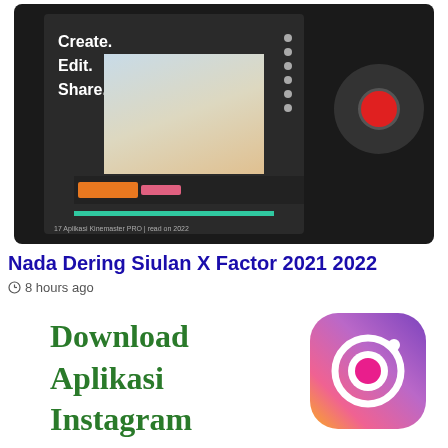[Figure (screenshot): Screenshot of a video editing app (KineMaster) on a dark-themed smartphone mockup, showing a woman being recorded, with orange/pink timeline bars, a red record dial control on the right, and 'Create. Edit. Share.' text overlay in white on dark background.]
Nada Dering Siulan X Factor 2021 2022
8 hours ago
[Figure (logo): Instagram app logo (gradient purple-pink-orange rounded square with white camera icon) alongside green bold text reading 'Download Aplikasi Instagram']